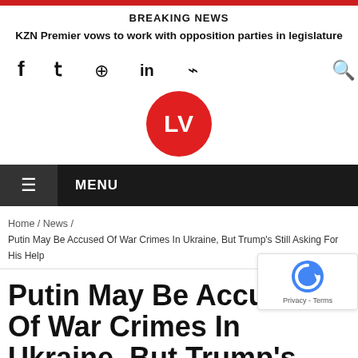BREAKING NEWS
KZN Premier vows to work with opposition parties in legislature
[Figure (logo): LV logo in red circle]
MENU
Home / News / Putin May Be Accused Of War Crimes In Ukraine, But Trump's Still Asking For His Help
Putin May Be Accused Of War Crimes In Ukraine, But Trump's Still Asking For His Help